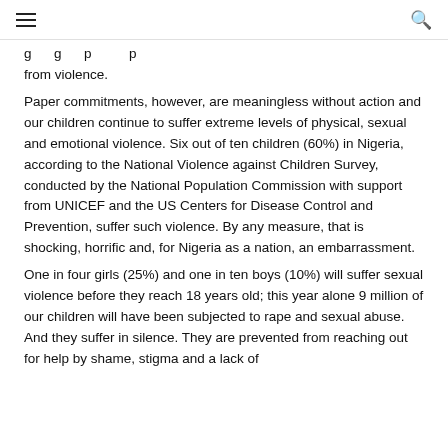☰ [menu] ... [search]
g g p p from violence.
Paper commitments, however, are meaningless without action and our children continue to suffer extreme levels of physical, sexual and emotional violence. Six out of ten children (60%) in Nigeria, according to the National Violence against Children Survey, conducted by the National Population Commission with support from UNICEF and the US Centers for Disease Control and Prevention, suffer such violence. By any measure, that is shocking, horrific and, for Nigeria as a nation, an embarrassment.
One in four girls (25%) and one in ten boys (10%) will suffer sexual violence before they reach 18 years old; this year alone 9 million of our children will have been subjected to rape and sexual abuse. And they suffer in silence. They are prevented from reaching out for help by shame, stigma and a lack of